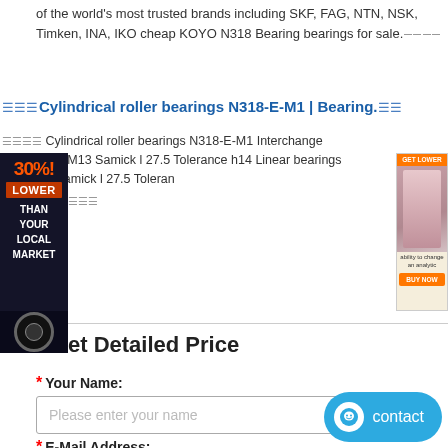of the world's most trusted brands including SKF, FAG, NTN, NSK, Timken, INA, IKO cheap KOYO N318 Bearing bearings for sale.
Cylindrical roller bearings N318-E-M1 | Bearing.
Cylindrical roller bearings N318-E-M1 Interchange SearchLMKM13 Samick l 27.5 Tolerance h14 Linear bearings LMKM13 Samick l 27.5 Tolerance
[Figure (other): Left side advertisement banner: 30% LOWER THAN YOUR LOCAL MARKET with dark background and circular logo at bottom]
[Figure (other): Right side advertisement banner showing a person with orange and cream colors]
Get Detailed Price
* Your Name:
Please enter your name
* E-Mail Address:
Please enter your e-mail
Country:
[Figure (other): Blue contact chat button in the bottom right corner with a smiley face icon and text 'contact']